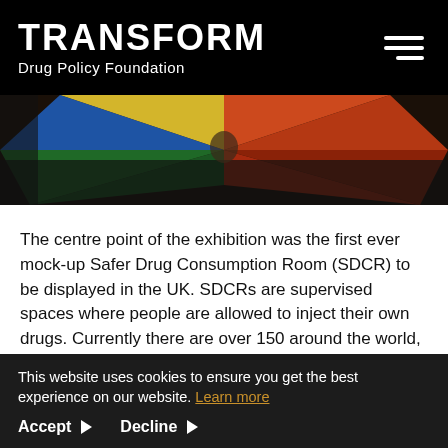TRANSFORM Drug Policy Foundation
[Figure (photo): Partial view of colorful artwork or exhibition display with bright colors including red, yellow, blue and green against a dark background]
The centre point of the exhibition was the first ever mock-up Safer Drug Consumption Room (SDCR) to be displayed in the UK. SDCRs are supervised spaces where people are allowed to inject their own drugs. Currently there are over 150 around the world, and to date there have been no drug-related deaths in any of them. At the moment however, no SDCRs are operating in the UK; this
This website uses cookies to ensure you get the best experience on our website. Learn more
Accept ▶   Decline ▶